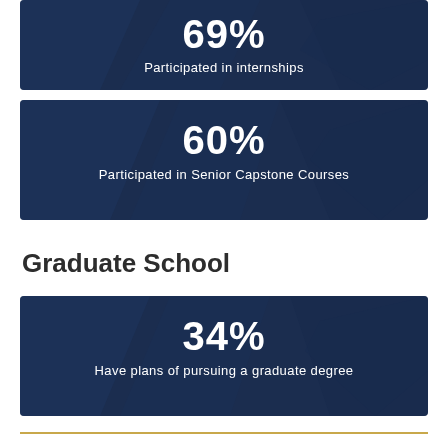[Figure (infographic): Dark navy stat box: 69% Participated in internships]
[Figure (infographic): Dark navy stat box: 60% Participated in Senior Capstone Courses]
Graduate School
[Figure (infographic): Dark navy stat box: 34% Have plans of pursuing a graduate degree]